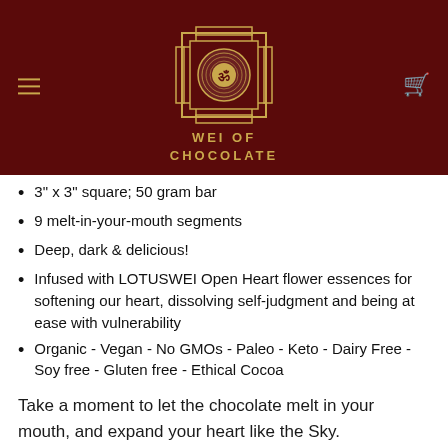[Figure (logo): Wei of Chocolate logo with Tibetan yantra mandala symbol in gold on dark red background, with hamburger menu icon on left and cart icon on right]
3" x 3" square; 50 gram bar
9 melt-in-your-mouth segments
Deep, dark & delicious!
Infused with LOTUSWEI Open Heart flower essences for softening our heart, dissolving self-judgment and being at ease with vulnerability
Organic - Vegan - No GMOs - Paleo - Keto - Dairy Free - Soy free - Gluten free - Ethical Cocoa
Take a moment to let the chocolate melt in your mouth, and expand your heart like the Sky.